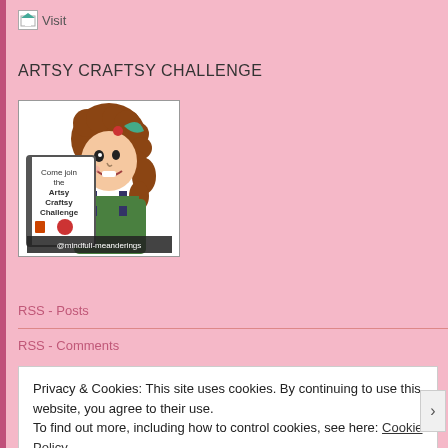[Figure (logo): Visit link with small image icon at top left]
ARTSY CRAFTSY CHALLENGE
[Figure (illustration): Cartoon illustration of a woman with curly brown hair wearing green overalls, holding a sign that says 'Come join the Artsy Craftsy Challenge', with text @mindfull-meanderings at bottom]
RSS - Posts
RSS - Comments
Privacy & Cookies: This site uses cookies. By continuing to use this website, you agree to their use.
To find out more, including how to control cookies, see here: Cookie Policy
Close and accept